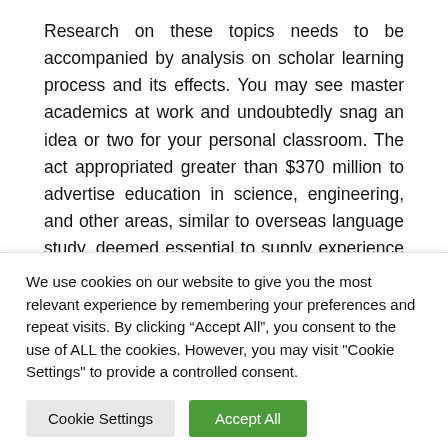Research on these topics needs to be accompanied by analysis on scholar learning process and its effects. You may see master academics at work and undoubtedly snag an idea or two for your personal classroom. The act appropriated greater than $370 million to advertise education in science, engineering, and other areas, similar to overseas language study, deemed essential to supply experience for waging the Cold Battle.
Google acquired itself into scorching water with
We use cookies on our website to give you the most relevant experience by remembering your preferences and repeat visits. By clicking “Accept All”, you consent to the use of ALL the cookies. However, you may visit "Cookie Settings" to provide a controlled consent.